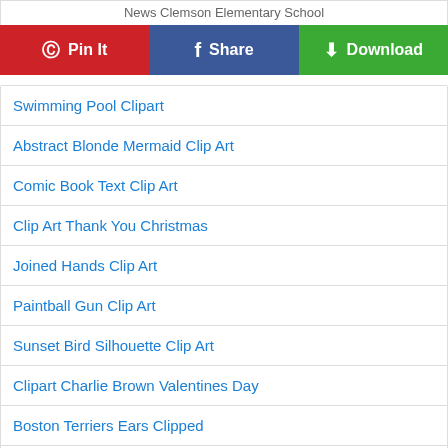News Clemson Elementary School
Pin It
Share
Download
Swimming Pool Clipart
Abstract Blonde Mermaid Clip Art
Comic Book Text Clip Art
Clip Art Thank You Christmas
Joined Hands Clip Art
Paintball Gun Clip Art
Sunset Bird Silhouette Clip Art
Clipart Charlie Brown Valentines Day
Boston Terriers Ears Clipped
Blue Racing Flames Clip Art